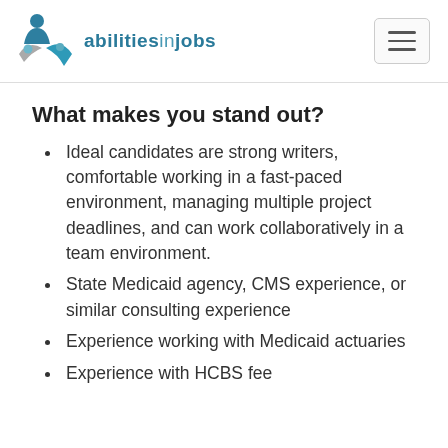abilitiesinjobs
What makes you stand out?
Ideal candidates are strong writers, comfortable working in a fast-paced environment, managing multiple project deadlines, and can work collaboratively in a team environment.
State Medicaid agency, CMS experience, or similar consulting experience
Experience working with Medicaid actuaries
Experience with HCBS fee